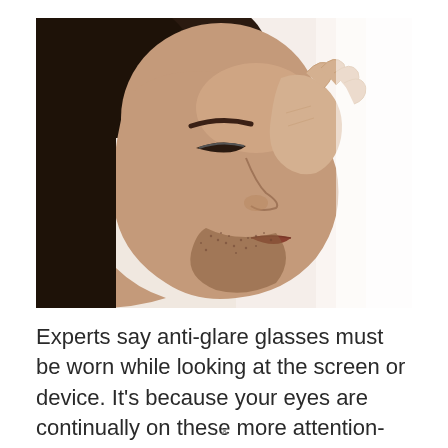[Figure (photo): A man with stubble beard holding his hand to his temple/forehead with eyes closed, suggesting a headache or eye strain. The image is sepia-toned/warm colored against a white background.]
Experts say anti-glare glasses must be worn while looking at the screen or device. It’s because your eyes are continually on these more attention-g...